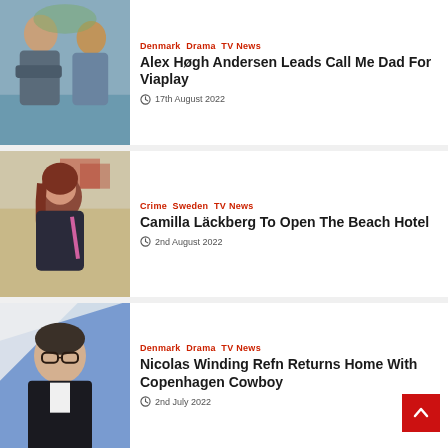[Figure (photo): Two men standing outdoors, one with arms crossed]
Denmark Drama TV News
Alex Høgh Andersen Leads Call Me Dad For Viaplay
17th August 2022
[Figure (photo): Red-haired woman smiling outdoors]
Crime Sweden TV News
Camilla Läckberg To Open The Beach Hotel
2nd August 2022
[Figure (photo): Man with glasses in a suit against blue background]
Denmark Drama TV News
Nicolas Winding Refn Returns Home With Copenhagen Cowboy
2nd July 2022